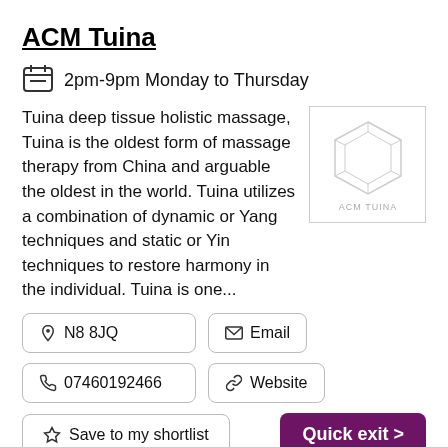ACM Tuina
2pm-9pm Monday to Thursday
Tuina deep tissue holistic massage, Tuina is the oldest form of massage therapy from China and arguable the oldest in the world. Tuina utilizes a combination of dynamic or Yang techniques and static or Yin techniques to restore harmony in the individual. Tuina is one...
[Figure (logo): ACM Tuina logo: geometric hexagon outline with text ACM TUINA inside a bordered box]
N8 8JQ
Email
07460192466
Website
Save to my shortlist
Quick exit >